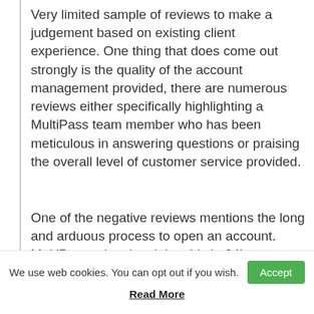Very limited sample of reviews to make a judgement based on existing client experience. One thing that does come out strongly is the quality of the account management provided, there are numerous reviews either specifically highlighting a MultiPass team member who has been meticulous in answering questions or praising the overall level of customer service provided.
One of the negative reviews mentions the long and arduous process to open an account. MultiPass advertise doing this in 24hours or under and in this instance it certainly didn't seem to be met. But given the firm is FCA regulated is required to
We use web cookies. You can opt out if you wish.
Read More